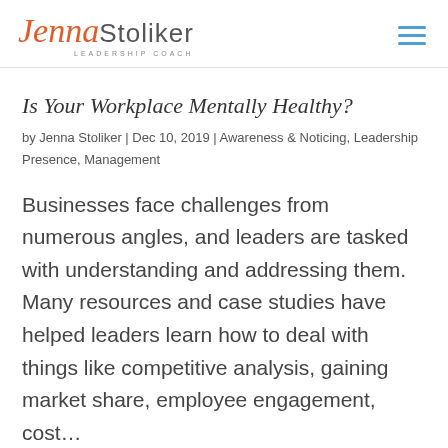Jenna Stoliker Leadership Coach
Is Your Workplace Mentally Healthy?
by Jenna Stoliker | Dec 10, 2019 | Awareness & Noticing, Leadership Presence, Management
Businesses face challenges from numerous angles, and leaders are tasked with understanding and addressing them. Many resources and case studies have helped leaders learn how to deal with things like competitive analysis, gaining market share, employee engagement, cost...